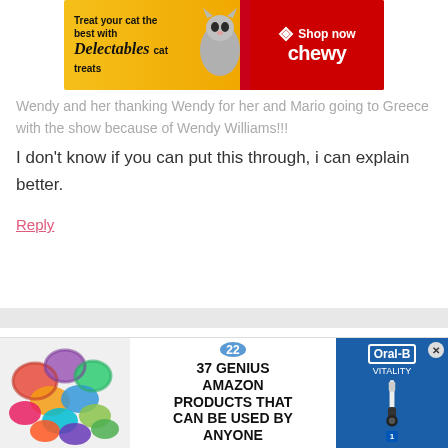[Figure (screenshot): Chewy advertisement banner: 'Treat your cat the best with Delectables cat treats' with cat image and 'Shop now chewy' on red background]
Wendy and her thanking Wendy for her and Mario going to Greece with the show because of Wendy Williams!!!
I don't know if you can put this through, i can explain better.
Reply
Chelle says
September 29, 2019 at 12:53 pm
[Figure (screenshot): Bottom advertisement: '37 Genius Amazon Products That Can Be Used By Anyone' with scrunchie image and badge '22', alongside Oral-B Vitality toothbrush ad with close button]